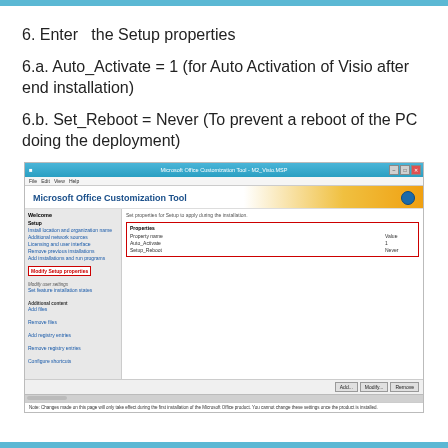6. Enter  the Setup properties
6.a. Auto_Activate = 1 (for Auto Activation of Visio after end installation)
6.b. Set_Reboot = Never (To prevent a reboot of the PC doing the deployment)
[Figure (screenshot): Screenshot of Microsoft Office Customization Tool - M2_Visio.MSP showing the Modify Setup properties section highlighted in red, with properties: Property name, Auto_Activate = 1, Setup_Reboot = Never. Buttons: Add, Modify, Remove at the bottom.]